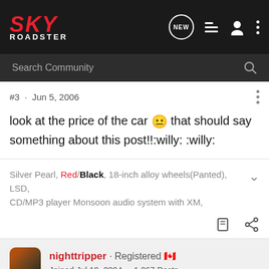[Figure (screenshot): Sky Roadster forum navigation bar with logo, search bar, and post content]
#3 · Jun 5, 2006
look at the price of the car 😐 that should say something about this post!!:willy: :willy:
Silver Pearl, Red/Black, 18-inch alloy wheels(Panted), LSD, CD/MP3 player Monsoon audio system with XM,
nighttripper · Registered 🇨🇦 Joined Jul 19, 2004 · 1,267 Posts